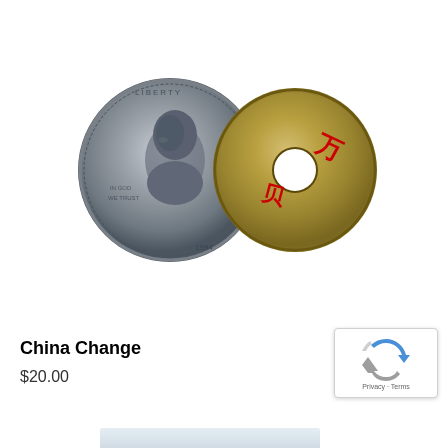[Figure (photo): Two coins side by side: on the left, a Kennedy half dollar (silver/gray coin with profile portrait), and on the right, a Chinese coin (round gold/brass colored coin with square hole in center and red Chinese characters painted on it).]
China Change
$20.00
[Figure (logo): reCAPTCHA badge with Google reCAPTCHA icon (blue and gray arrow recycling symbol) and 'Privacy · Terms' text below.]